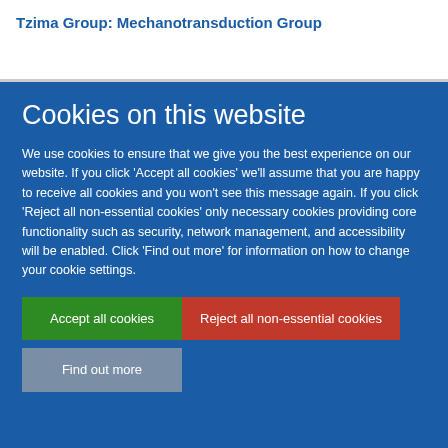Tzima Group: Mechanotransduction Group
Cookies on this website
We use cookies to ensure that we give you the best experience on our website. If you click 'Accept all cookies' we'll assume that you are happy to receive all cookies and you won't see this message again. If you click 'Reject all non-essential cookies' only necessary cookies providing core functionality such as security, network management, and accessibility will be enabled. Click 'Find out more' for information on how to change your cookie settings.
Accept all cookies
Reject all non-essential cookies
Find out more